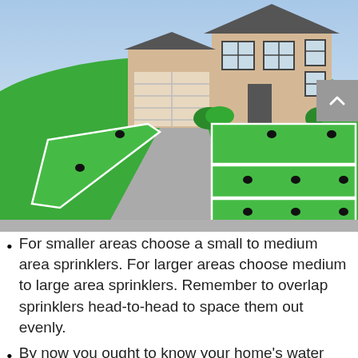[Figure (illustration): 3D illustration of a suburban house with a garage and driveway, surrounded by green lawn areas divided into sprinkler zones marked with white outlines and black sprinkler heads.]
For smaller areas choose a small to medium area sprinklers. For larger areas choose medium to large area sprinklers. Remember to overlap sprinklers head-to-head to space them out evenly.
By now you ought to know your home's water capacity. Knowing your home's water capacity will give you an idea of